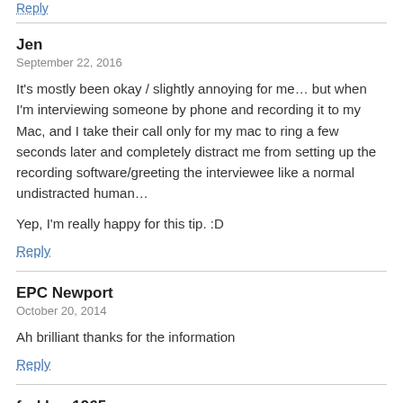Reply
Jen
September 22, 2016
It's mostly been okay / slightly annoying for me… but when I'm interviewing someone by phone and recording it to my Mac, and I take their call only for my mac to ring a few seconds later and completely distract me from setting up the recording software/greeting the interviewee like a normal undistracted human…
Yep, I'm really happy for this tip. :D
Reply
EPC Newport
October 20, 2014
Ah brilliant thanks for the information
Reply
forkboy1965
October 19, 2014